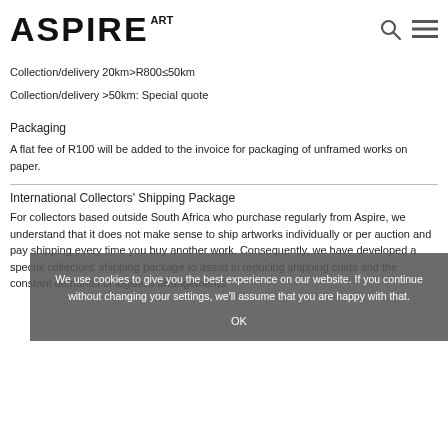ASPIRE ART
Collection/delivery 20km>R800≤50km
Collection/delivery >50km: Special quote
Packaging
A flat fee of R100 will be added to the invoice for packaging of unframed works on paper.
International Collectors' Shipping Package
For collectors based outside South Africa who purchase regularly from Aspire, we understand that it does not make sense to ship artworks individually or per auction and pay shipping every time you buy another work. Consequently, we have developed a special collectors' shipping package to assist in reducing shipping costs and the constant demands of logistics arrangements.
We use cookies to give you the best experience on our website. If you continue without changing your settings, we'll assume that you are happy with that.